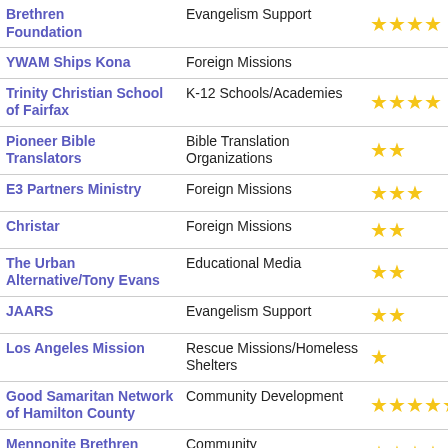| Organization | Category | Rating |
| --- | --- | --- |
| Brethren Foundation | Evangelism Support | ★★★★ |
| YWAM Ships Kona | Foreign Missions |  |
| Trinity Christian School of Fairfax | K-12 Schools/Academies | ★★★★ |
| Pioneer Bible Translators | Bible Translation Organizations | ★★ |
| E3 Partners Ministry | Foreign Missions | ★★★ |
| Christar | Foreign Missions | ★★ |
| The Urban Alternative/Tony Evans | Educational Media | ★★ |
| JAARS | Evangelism Support | ★★ |
| Los Angeles Mission | Rescue Missions/Homeless Shelters | ★ |
| Good Samaritan Network of Hamilton County | Community Development | ★★★★★ |
| Mennonite Brethren Homes, dba Palm Village | Community | ★★★★ |